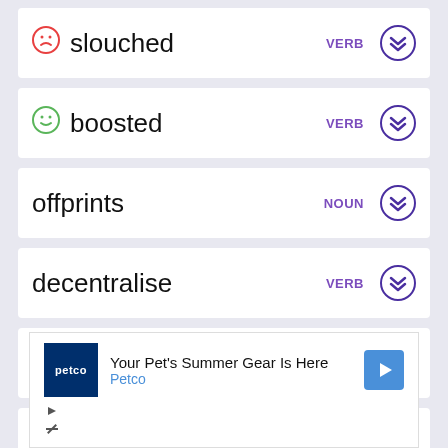slouched  VERB
boosted  VERB
offprints  NOUN
decentralise  VERB
rigidified  VERB
dwindle  VERB
[Figure (screenshot): Petco advertisement: 'Your Pet's Summer Gear Is Here' with Petco logo and navigation arrow icon]